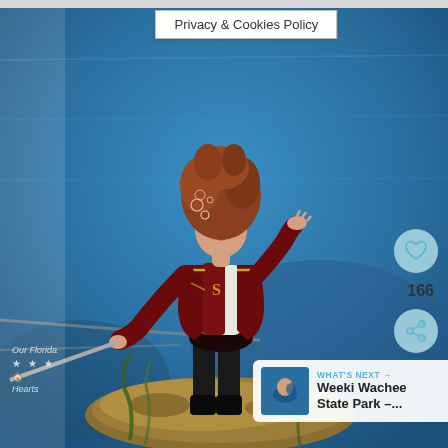[Figure (photo): Underwater performer dressed in a circus ringmaster costume (dark red jacket with gold trim, black shorts and tights) standing on a rocky underwater surface, with hair floating upward, holding a long pole, set against a blue aquarium/spring background. Appears to be a Weeki Wachee-style mermaid show.]
Privacy & Cookies Policy
166
WHAT'S NEXT →
Weeki Wachee State Park –...
Our Florida
★ ★ ★
Hearts